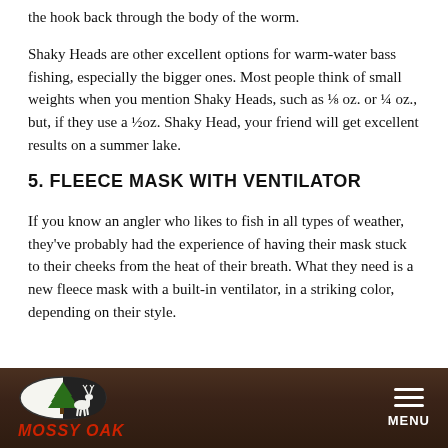the hook back through the body of the worm.
Shaky Heads are other excellent options for warm-water bass fishing, especially the bigger ones. Most people think of small weights when you mention Shaky Heads, such as ⅛ oz. or ¼ oz., but, if they use a ½oz. Shaky Head, your friend will get excellent results on a summer lake.
5. FLEECE MASK WITH VENTILATOR
If you know an angler who likes to fish in all types of weather, they've probably had the experience of having their mask stuck to their cheeks from the heat of their breath. What they need is a new fleece mask with a built-in ventilator, in a striking color, depending on their style.
MOSSY OAK | MENU